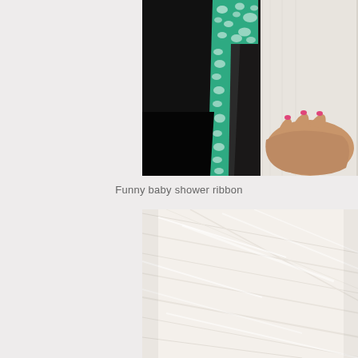[Figure (photo): Close-up photo of a person wearing a white shirt and black outfit, holding a green polka-dot ribbon/tie against their midsection. A hand with pink nail polish is visible.]
Funny baby shower ribbon
[Figure (photo): Partial photo showing a light-colored textured fabric or material, very pale/white with subtle diagonal lines or creases.]